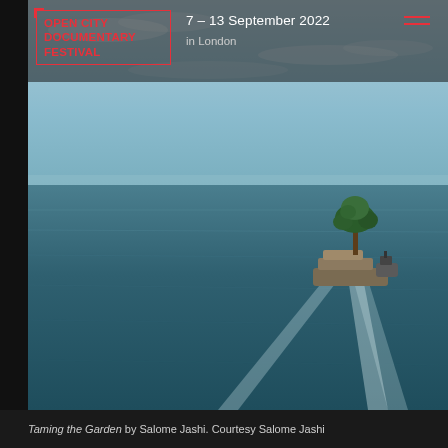[Figure (photo): Aerial view of a barge carrying a large tree across a vast calm blue ocean/sea, with a white wake trailing behind. Sky is pale blue with light clouds occupying the upper portion. The scene is serene and wide.]
OPEN CITY DOCUMENTARY FESTIVAL   7 – 13 September 2022 in London
Taming the Garden by Salome Jashi. Courtesy Salome Jashi